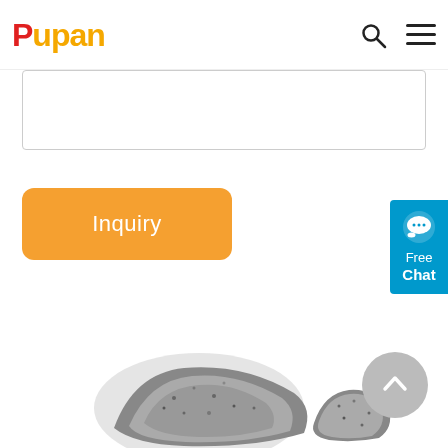Pupan
Inquiry
[Figure (photo): Product photo showing dark grey stone or mineral chunks, partially visible at bottom of page]
[Figure (other): Free Chat button widget on right side, blue background with chat bubble icon]
[Figure (other): Scroll to top button, grey circle with upward chevron arrow]